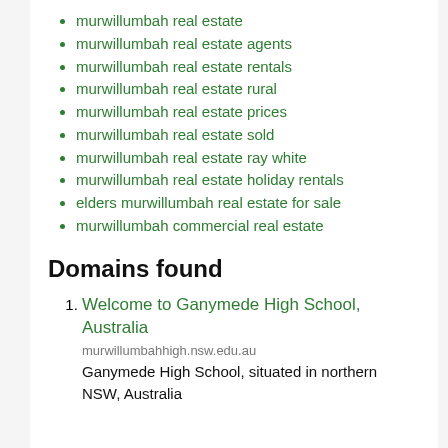murwillumbah real estate
murwillumbah real estate agents
murwillumbah real estate rentals
murwillumbah real estate rural
murwillumbah real estate prices
murwillumbah real estate sold
murwillumbah real estate ray white
murwillumbah real estate holiday rentals
elders murwillumbah real estate for sale
murwillumbah commercial real estate
Domains found
Welcome to Ganymede High School, Australia
murwillumbahhigh.nsw.edu.au
Ganymede High School, situated in northern NSW, Australia